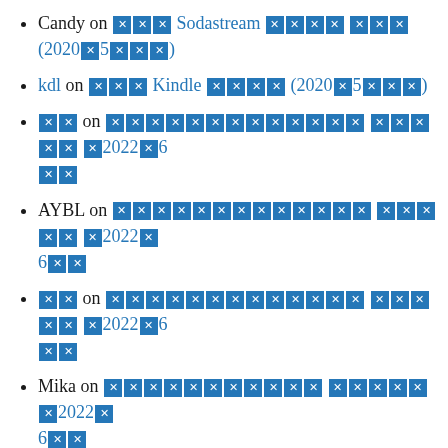Candy on ■■■ Sodastream ■■■■ ■■■ (2020■5■■■■)
kdl on ■■■ Kindle ■■■■ (2020■5■■■■)
■■ on ■■■■■■■■■■■■■ ■■■■■ ■2022■6 ■■
AYBL on ■■■■■■■■■■■■■ ■■■■■ ■2022■ 6■■
■■ on ■■■■■■■■■■■■■ ■■■■■ ■2022■6 ■■
Mika on ■■■■■■■■■■■ ■■■■■ ■2022■ 6■■
■■ on ■■■■■■■■■■■■
■■ on ■■■ Sennheiser HD 350BT ■■■ + ■ ■■■